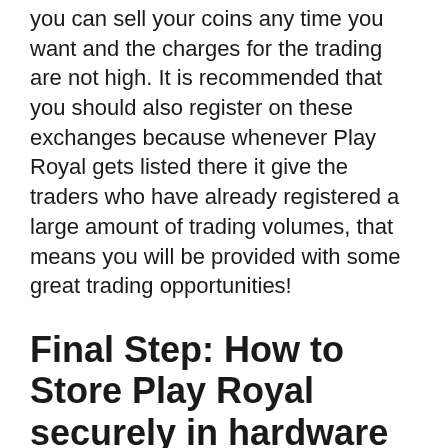you can sell your coins any time you want and the charges for the trading are not high. It is recommended that you should also register on these exchanges because whenever Play Royal gets listed there it give the traders who have already registered a large amount of trading volumes, that means you will be provided with some great trading opportunities!
Final Step: How to Store Play Royal securely in hardware wallets
1. Ledger Nano S